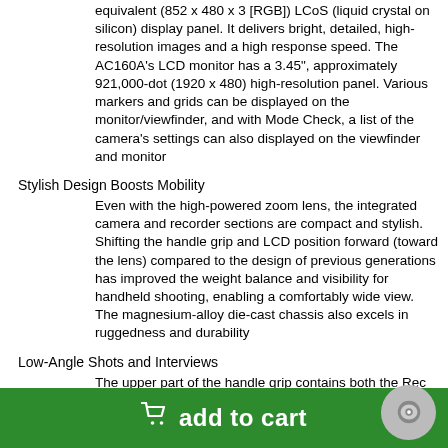equivalent (852 x 480 x 3 [RGB]) LCoS (liquid crystal on silicon) display panel. It delivers bright, detailed, high-resolution images and a high response speed. The AC160A's LCD monitor has a 3.45", approximately 921,000-dot (1920 x 480) high-resolution panel. Various markers and grids can be displayed on the monitor/viewfinder, and with Mode Check, a list of the camera's settings can also displayed on the viewfinder and monitor
Stylish Design Boosts Mobility
Even with the high-powered zoom lens, the integrated camera and recorder sections are compact and stylish. Shifting the handle grip and LCD position forward (toward the lens) compared to the design of previous generations has improved the weight balance and visibility for handheld shooting, enabling a comfortably wide view. The magnesium-alloy die-cast chassis also excels in ruggedness and durability
Low-Angle Shots and Interviews
The upper part of the handle grip contains both the Rec Start/Stop button and a lens zoom speed control (three speeds). This design assures easy shooting even at low angles. The LCD monitor's mirror mode is convenient for shooting interviews that need to be monitored by one of the subjects of the s...
add to cart